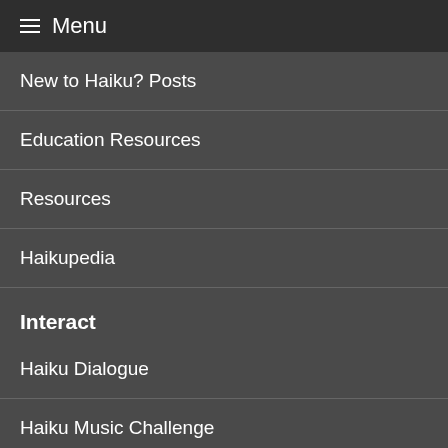≡ Menu
New to Haiku? Posts
Education Resources
Resources
Haikupedia
Interact
Haiku Dialogue
Haiku Music Challenge
Monthly Kukai